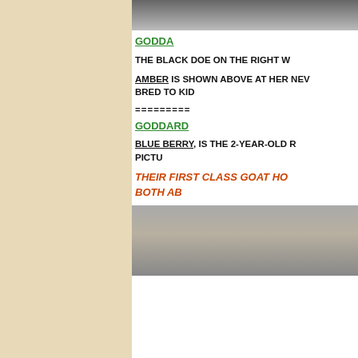[Figure (photo): Top portion of a photo showing goats or animals, cropped at top of page]
GODDARD (partially cropped)
THE BLACK DOE ON THE RIGHT W... (cropped)
AMBER IS SHOWN ABOVE AT HER NEW... BRED TO KID... (cropped)
========== (separator line, cropped)
GODDARD (partially cropped)
BLUE BERRY, IS THE 2-YEAR-OLD R... PICTU... (cropped)
THEIR FIRST CLASS GOAT HO... BOTH AB... (cropped)
[Figure (photo): Photo of a goat housing structure/barn with metal roof]